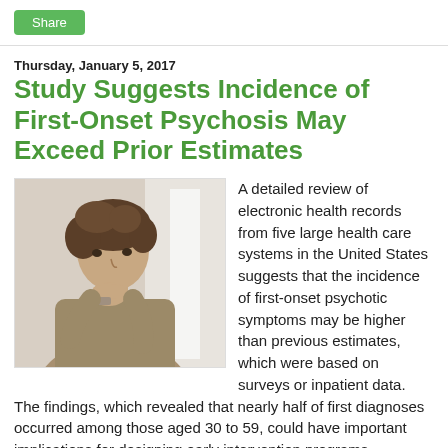Share
Thursday, January 5, 2017
Study Suggests Incidence of First-Onset Psychosis May Exceed Prior Estimates
[Figure (photo): A young man sitting and thinking with his hand near his chin, facing left, in a bright environment.]
A detailed review of electronic health records from five large health care systems in the United States suggests that the incidence of first-onset psychotic symptoms may be higher than previous estimates, which were based on surveys or inpatient data. The findings, which revealed that nearly half of first diagnoses occurred among those aged 30 to 59, could have important implications for designing early intervention programs.